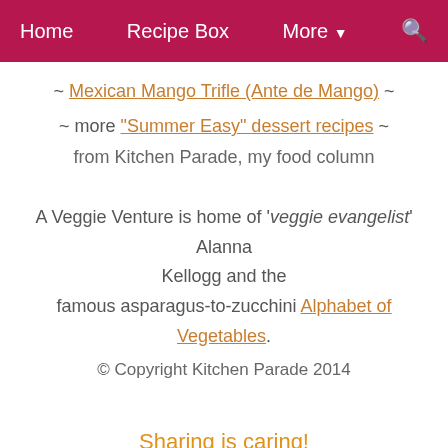Home | Recipe Box | More ▾ | 🔍
~ Mexican Mango Trifle (Ante de Mango) ~
~ more "Summer Easy" dessert recipes ~
from Kitchen Parade, my food column
A Veggie Venture is home of 'veggie evangelist' Alanna Kellogg and the famous asparagus-to-zucchini Alphabet of Vegetables. © Copyright Kitchen Parade 2014
[Figure (infographic): Sharing is caring! social sharing icons with share count 21]